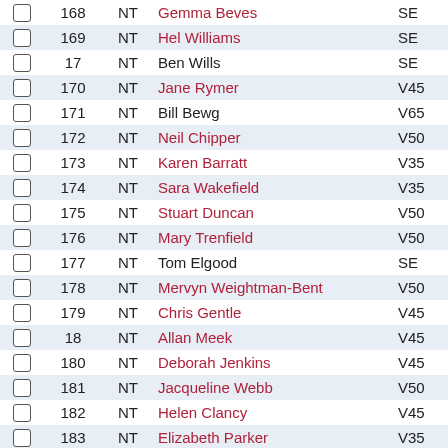|  | Bib | NT | Name | Cat |
| --- | --- | --- | --- | --- |
| ☐ | 168 | NT | Gemma Beves | SE |
| ☐ | 169 | NT | Hel Williams | SE |
| ☐ | 17 | NT | Ben Wills | SE |
| ☐ | 170 | NT | Jane Rymer | V45 |
| ☐ | 171 | NT | Bill Bewg | V65 |
| ☐ | 172 | NT | Neil Chipper | V50 |
| ☐ | 173 | NT | Karen Barratt | V35 |
| ☐ | 174 | NT | Sara Wakefield | V35 |
| ☐ | 175 | NT | Stuart Duncan | V50 |
| ☐ | 176 | NT | Mary Trenfield | V50 |
| ☐ | 177 | NT | Tom Elgood | SE |
| ☐ | 178 | NT | Mervyn Weightman-Bent | V50 |
| ☐ | 179 | NT | Chris Gentle | V45 |
| ☐ | 18 | NT | Allan Meek | V45 |
| ☐ | 180 | NT | Deborah Jenkins | V45 |
| ☐ | 181 | NT | Jacqueline Webb | V50 |
| ☐ | 182 | NT | Helen Clancy | V45 |
| ☐ | 183 | NT | Elizabeth Parker | V35 |
| ☐ | 184 | NT | Andrew Bray | V55 |
| ☐ | 185 | NT | Sally Fletcher | V35 |